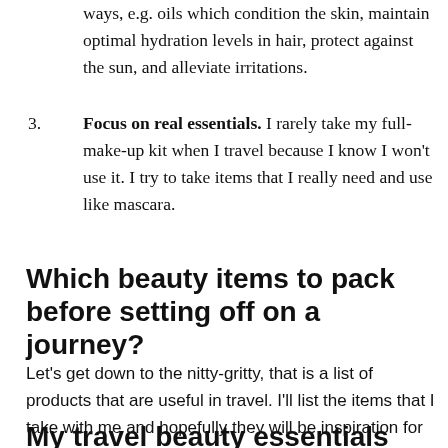ways, e.g. oils which condition the skin, maintain optimal hydration levels in hair, protect against the sun, and alleviate irritations.
Focus on real essentials. I rarely take my full-make-up kit when I travel because I know I won't use it. I try to take items that I really need and use like mascara.
Which beauty items to pack before setting off on a journey?
Let's get down to the nitty-gritty, that is a list of products that are useful in travel. I'll list the items that I take with me and hopefully they will be inspiration for your own set.
My travel beauty essentials